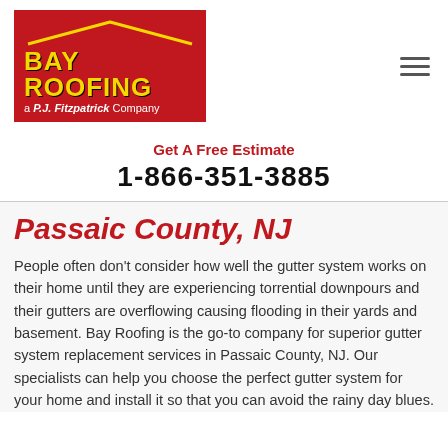[Figure (logo): Bay Roofing logo — red background with yellow roof outline and yellow bold text 'BAY ROOFING', white subtitle 'a P.J. Fitzpatrick Company']
Get A Free Estimate
1-866-351-3885
Passaic County, NJ
People often don't consider how well the gutter system works on their home until they are experiencing torrential downpours and their gutters are overflowing causing flooding in their yards and basement. Bay Roofing is the go-to company for superior gutter system replacement services in Passaic County, NJ. Our specialists can help you choose the perfect gutter system for your home and install it so that you can avoid the rainy day blues.